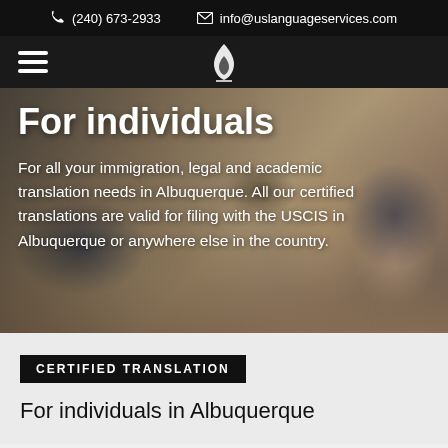(240) 673-2933  info@uslanguageservices.com
[Figure (screenshot): Navigation bar with hamburger menu icon on the left and a flame logo in the center on a dark background]
[Figure (photo): Hero banner over a photo of a family sitting on a floor. Title: 'For individuals'. Body text: 'For all your immigration, legal and academic translation needs in Albuquerque. All our certified translations are valid for filing with the USCIS in Albuquerque or anywhere else in the country.']
CERTIFIED TRANSLATION
For individuals in Albuquerque